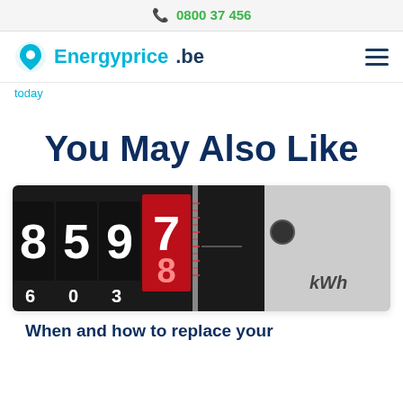📞 0800 37 456
Energyprice.be
today
You May Also Like
[Figure (photo): Close-up of an electricity meter showing digits 8, 5, 9, 7, 8 with the red digit 7 highlighted, and kWh label on the right side]
When and how to replace your